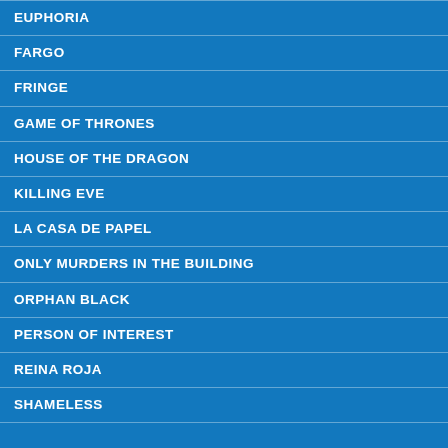EUPHORIA
FARGO
FRINGE
GAME OF THRONES
HOUSE OF THE DRAGON
KILLING EVE
LA CASA DE PAPEL
ONLY MURDERS IN THE BUILDING
ORPHAN BLACK
PERSON OF INTEREST
REINA ROJA
SHAMELESS